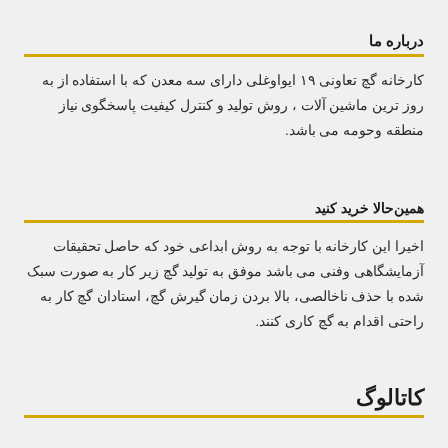درباره ما
کارخانه گچ تعاونی ۱۹ ایواوغلی دارای سه معدن که با استفاده از به روز ترین ماشین آلات ، روش تولید و کنترل کیفیت پاسخگوی نیاز منطقه وحومه می باشد.
همین حالا خرید کنید
اخیرا این کارخانه با توجه به روش ابداعی خود که حاصل تحقیقات آزمایشگاهی وفنی می باشد موفق به تولید گچ زیر کار به صورت سبک شده با حذف ناخالصی، بالا بردن زمان گیرش گچ، استادان گچ کار به راحتی اقدام به گچ کاری کنند.
کاتالوگ